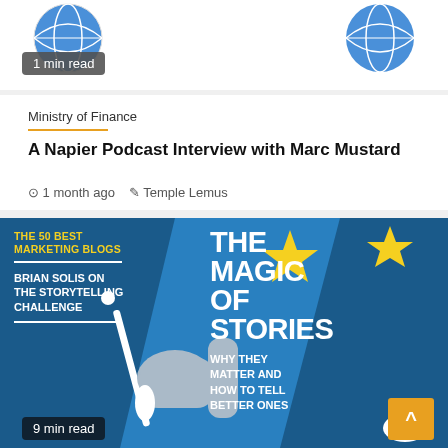[Figure (illustration): Globe/world icons at top of article thumbnail]
1 min read
Ministry of Finance
A Napier Podcast Interview with Marc Mustard
1 month ago  Temple Lemus
[Figure (illustration): Blue illustrated magazine cover: 'The 50 Best Marketing Blogs', 'Brian Solis on the Storytelling Challenge', 'The Magic of Stories – Why They Matter and How to Tell Better Ones' with wizard illustration holding a wand and star decorations]
9 min read